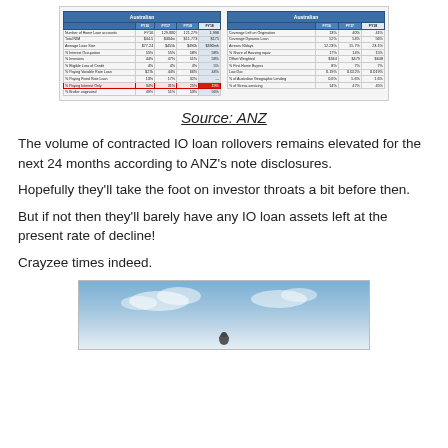[Figure (table-as-image): ANZ bank data table showing loan portfolio statistics with columns FY16, FY17, FY18, FY18 across two side-by-side panels. One row is highlighted in red for % Paying Interest Only.]
Source: ANZ
The volume of contracted IO loan rollovers remains elevated for the next 24 months according to ANZ's note disclosures.
Hopefully they'll take the foot on investor throats a bit before then.
But if not then they'll barely have any IO loan assets left at the present rate of decline!
Crayzee times indeed.
[Figure (photo): Photo of a sky with clouds and a small figure (bird or person) at the bottom center.]